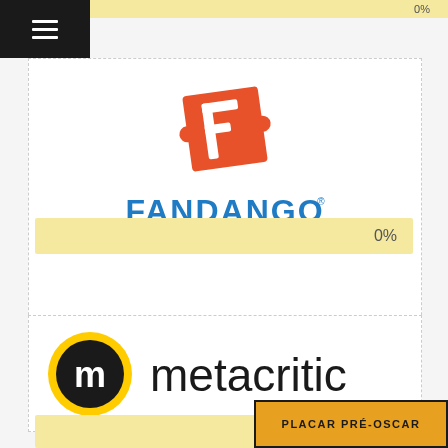[Figure (logo): Fandango logo: orange square with white stylized F ticket shape, and bold blue FANDANGO text below]
0%
[Figure (logo): Metacritic logo: yellow-outlined black circle with white m icon, followed by 'metacritic' in black sans-serif text]
0%
PLACAR PRÉ-OSCAR